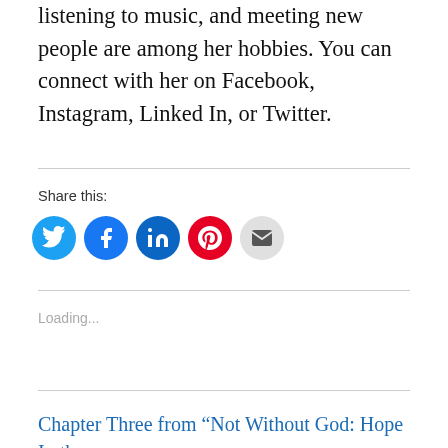listening to music, and meeting new people are among her hobbies. You can connect with her on Facebook, Instagram, Linked In, or Twitter.
Share this:
[Figure (infographic): Five social share icon buttons: Twitter (cyan), Facebook (blue), LinkedIn (dark blue), Pinterest (red), Email (light gray)]
Loading...
Chapter Three from “Not Without God: Hope In the